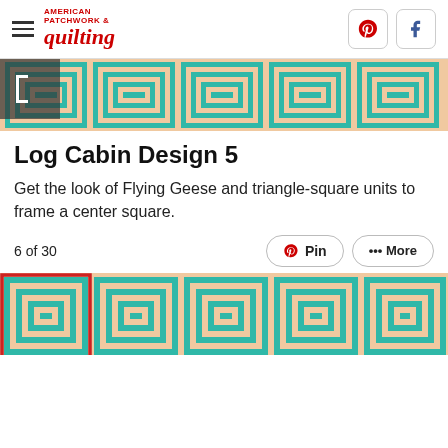American Patchwork & Quilting — Pinterest, Facebook icons
[Figure (illustration): Top strip showing a row of Log Cabin quilt blocks in teal and peach/salmon colors]
Log Cabin Design 5
Get the look of Flying Geese and triangle-square units to frame a center square.
6 of 30
[Figure (illustration): Bottom strip showing a row of Log Cabin quilt blocks in teal and peach colors; first block has a red outline highlight border]